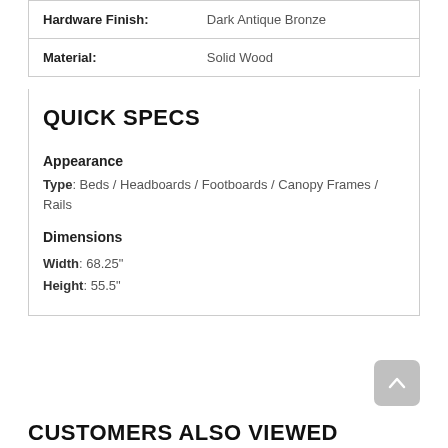| Hardware Finish: | Dark Antique Bronze |
| Material: | Solid Wood |
QUICK SPECS
Appearance
Type: Beds / Headboards / Footboards / Canopy Frames / Rails
Dimensions
Width: 68.25"
Height: 55.5"
CUSTOMERS ALSO VIEWED